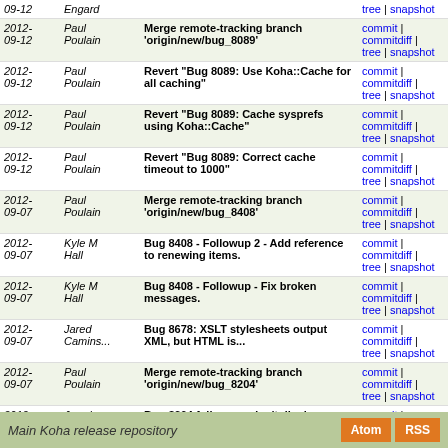| Date | Author | Commit Message | Links |
| --- | --- | --- | --- |
| 2012-09-12 | Engard |  | commit | commitdiff | tree | snapshot |
| 2012-09-12 | Paul Poulain | Merge remote-tracking branch 'origin/new/bug_8089' | commit | commitdiff | tree | snapshot |
| 2012-09-12 | Paul Poulain | Revert "Bug 8089: Use Koha::Cache for all caching" | commit | commitdiff | tree | snapshot |
| 2012-09-12 | Paul Poulain | Revert "Bug 8089: Cache sysprefs using Koha::Cache" | commit | commitdiff | tree | snapshot |
| 2012-09-12 | Paul Poulain | Revert "Bug 8089: Correct cache timeout to 1000" | commit | commitdiff | tree | snapshot |
| 2012-09-07 | Paul Poulain | Merge remote-tracking branch 'origin/new/bug_8408' | commit | commitdiff | tree | snapshot |
| 2012-09-07 | Kyle M Hall | Bug 8408 - Followup 2 - Add reference to renewing items. | commit | commitdiff | tree | snapshot |
| 2012-09-07 | Kyle M Hall | Bug 8408 - Followup - Fix broken messages. | commit | commitdiff | tree | snapshot |
| 2012-09-07 | Jared Camins... | Bug 8678: XSLT stylesheets output XML, but HTML is... | commit | commitdiff | tree | snapshot |
| 2012-09-07 | Paul Poulain | Merge remote-tracking branch 'origin/new/bug_8204' | commit | commitdiff | tree | snapshot |
| 2012-09-07 | Jared Camins... | Bug 8204 follow-up: don't display OpacNav on auth details | commit | commitdiff | tree | snapshot |
| 2012-09-07 | Jared Camins... | Bug 8089: Correct cache timeout to 1000 | commit | commitdiff | tree | snapshot |
next
Main Koha release repository